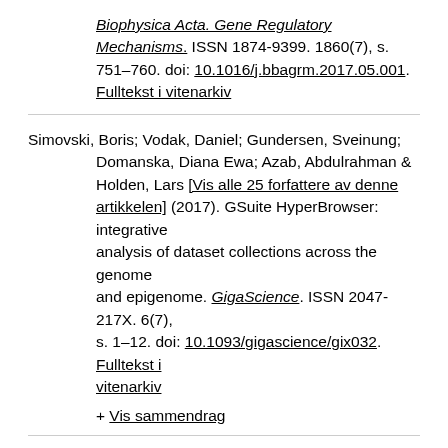Biophysica Acta. Gene Regulatory Mechanisms. ISSN 1874-9399. 1860(7), s. 751–760. doi: 10.1016/j.bbagrm.2017.05.001. Fulltekst i vitenarkiv
Simovski, Boris; Vodak, Daniel; Gundersen, Sveinung; Domanska, Diana Ewa; Azab, Abdulrahman & Holden, Lars [Vis alle 25 forfattere av denne artikkelen] (2017). GSuite HyperBrowser: integrative analysis of dataset collections across the genome and epigenome. GigaScience. ISSN 2047-217X. 6(7), s. 1–12. doi: 10.1093/gigascience/gix032. Fulltekst i vitenarkiv
+ Vis sammendrag
Ledsaak, Marit; Bengtsen, Mads; Molværsmyr, Ann-Kristin; Fuglerud, Bettina Maria; Matre, Vilborg & Eskeland,